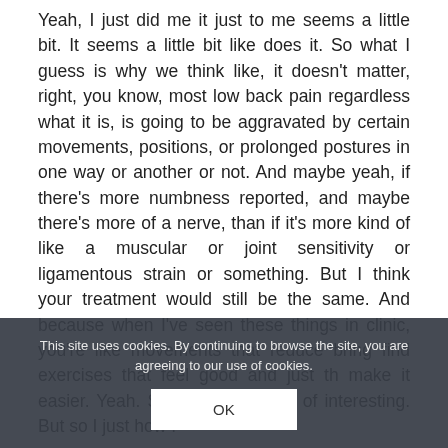Yeah, I just did me it just to me seems a little bit. It seems a little bit like does it. So what I guess is why we think like, it doesn't matter, right, you know, most low back pain regardless what it is, is going to be aggravated by certain movements, positions, or prolonged postures in one way or another or not. And maybe yeah, if there's more numbness reported, and maybe there's more of a nerve, than if it's more kind of like a muscular or joint sensitivity or ligamentous strain or something. But I think your treatment would still be the same. And because when I've seen these things in clinic, you're like movements that reduce bring find exercises that feel good and just th make it easier. Yeah. So I know it's kind of interesting. But so I just how I
This site uses cookies. By continuing to browse the site, you are agreeing to our use of cookies.
OK